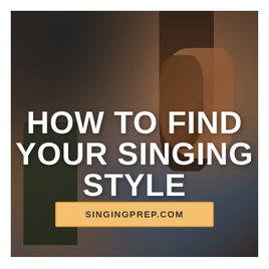[Figure (photo): A young woman sitting cross-legged playing a ukulele/guitar in a studio or music room setting, with music stand visible. Warm, moody lighting with dark background.]
HOW TO FIND YOUR SINGING STYLE
SINGINGPREP.COM